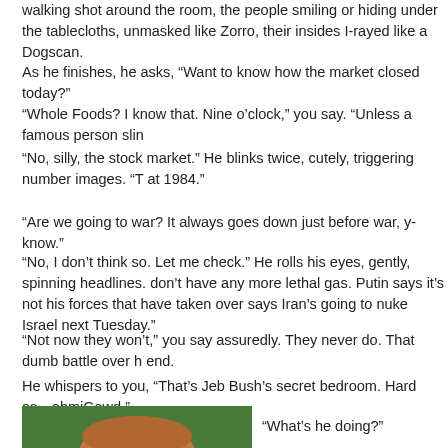walking shot around the room, the people smiling or hiding under the tablecloths, unmasked like Zorro, their insides I-rayed like a Dogscan.
As he finishes, he asks, “Want to know how the market closed today?”
“Whole Foods? I know that. Nine o’clock,” you say. “Unless a famous person slin
“No, silly, the stock market.” He blinks twice, cutely, triggering number images. “T at 1984.”
“Are we going to war? It always goes down just before war, y-know.”
“No, I don’t think so. Let me check.” He rolls his eyes, gently, spinning headlines. don’t have any more lethal gas. Putin says it’s not his forces that have taken over says Iran’s going to nuke Israel next Tuesday.”
“Not now they won’t,” you say assuredly. They never do. That dumb battle over h end.
“Washington D.C. Romp, Google, Romp!” he says suddenly, eager to show-off hi typical guy. “No, no, not the 3-D map showing lanes of jammed traffic! Go inside t floors down, hardened cement and steel vault. Use the infra-red.”
He whispers to you, “That’s Jeb Bush’s secret bedroom. Hard as…ohmiGawd.”
[Figure (photo): Photo of a person with reddish-brown hair against a green background, cropped at the bottom of the page.]
“What’s he doing?”